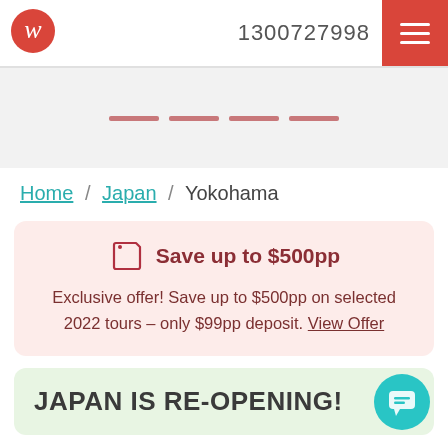1300727998
[Figure (illustration): Loading/placeholder banner with four short horizontal pink dashes on a light grey background]
Home / Japan / Yokohama
Save up to $500pp
Exclusive offer! Save up to $500pp on selected 2022 tours – only $99pp deposit. View Offer
JAPAN IS RE-OPENING!